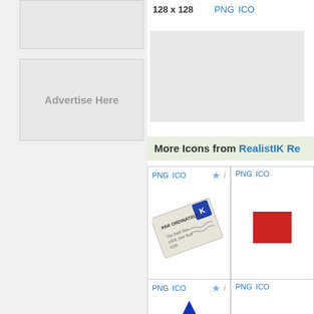[Figure (other): Top left advertisement placeholder box (grey rectangle)]
[Figure (other): Advertise Here placeholder box]
128 x 128
PNG  ICO
[Figure (other): Right side advertisement banner (grey rectangle)]
More Icons from RealistIK Re
[Figure (other): Icon cell showing a French envelope/letter icon tilted with text PAR ORDINATEUR, The Dark Star, 1024. Dev Nud, KDR]
PNG  ICO
[Figure (other): Partially visible icon cell showing a red shape]
PNG  ICO
[Figure (other): Icon cell showing a blue triangle/arrow shape]
PNG  ICO
[Figure (other): Partially visible fourth icon cell]